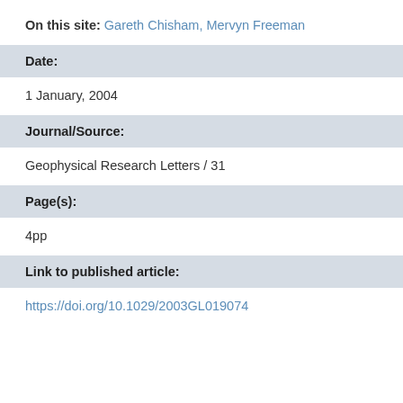On this site: Gareth Chisham, Mervyn Freeman
Date:
1 January, 2004
Journal/Source:
Geophysical Research Letters / 31
Page(s):
4pp
Link to published article:
https://doi.org/10.1029/2003GL019074